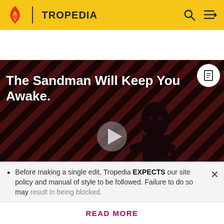TROPEDIA
[Figure (screenshot): Video player thumbnail showing a dark-themed promotional banner for 'The Sandman Will Keep You Awake' with a figure in black, diagonal striped red/dark background, play button in center, 'THE LOOP' text overlay, and NaN:NaN timer label.]
Subverted by Ling Tong, who intended to kill Gan Ning for killing his father Ling Cao (before
Before making a single edit, Tropedia EXPECTS our site policy and manual of style to be followed. Failure to do so may
READ MORE